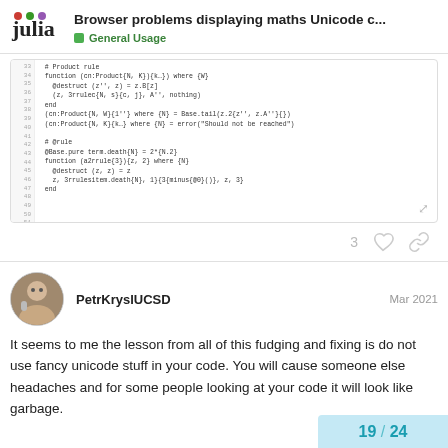Browser problems displaying maths Unicode c... — General Usage
[Figure (screenshot): Code block showing Julia function definitions with line numbers]
3 likes and link icon
PetrKryslUCSD — Mar 2021
It seems to me the lesson from all of this fudging and fixing is do not use fancy unicode stuff in your code. You will cause someone else headaches and for some people looking at your code it will look like garbage.
19 / 24